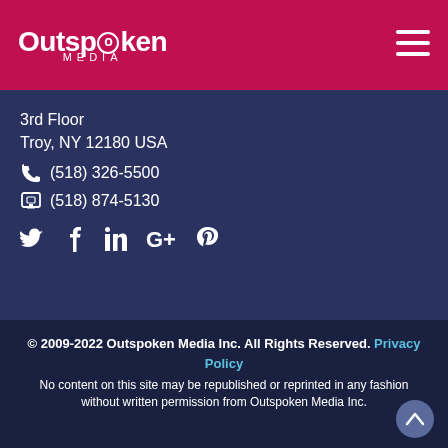Outspoken MEDIA
3rd Floor
Troy, NY 12180 USA
☎ (518) 326-5500
🖷 (518) 874-5130
Social media icons: Twitter, Facebook, LinkedIn, Google+, Pinterest
© 2009-2022 Outspoken Media Inc. All Rights Reserved. Privacy Policy
No content on this site may be republished or reprinted in any fashion without written permission from Outspoken Media Inc.